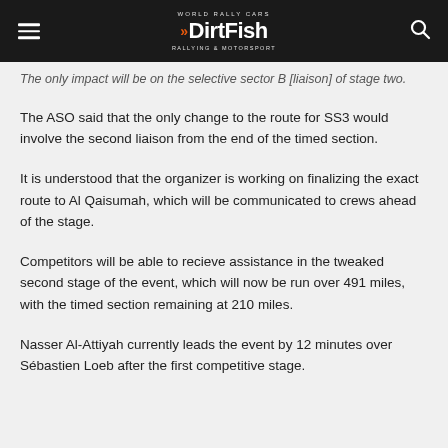DirtFish
The only impact will be on the selective sector B [liaison] of stage two.
The ASO said that the only change to the route for SS3 would involve the second liaison from the end of the timed section.
It is understood that the organizer is working on finalizing the exact route to Al Qaisumah, which will be communicated to crews ahead of the stage.
Competitors will be able to recieve assistance in the tweaked second stage of the event, which will now be run over 491 miles, with the timed section remaining at 210 miles.
Nasser Al-Attiyah currently leads the event by 12 minutes over Sébastien Loeb after the first competitive stage.